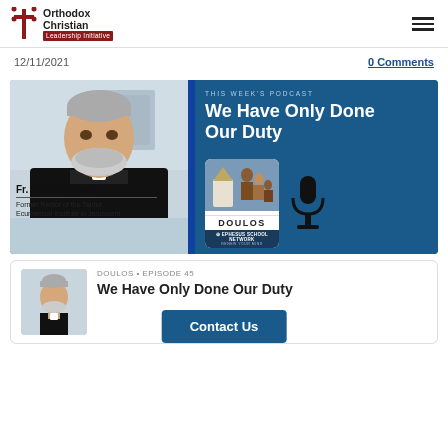Orthodox Christian Leadership Initiative
12/11/2021
0 Comments
[Figure (photo): Podcast banner for 'We Have Only Done Our Duty' featuring Fr. Timothy Lowe, Former Rector of the Tantur Ecumenical Institute in Jerusalem, with Doulos podcast logo and microphone icon on blue background]
DOULOS • EPISODE 45
We Have Only Done Our Duty
Contact Us